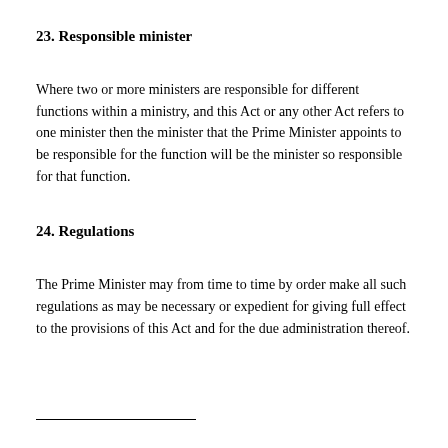23. Responsible minister
Where two or more ministers are responsible for different functions within a ministry, and this Act or any other Act refers to one minister then the minister that the Prime Minister appoints to be responsible for the function will be the minister so responsible for that function.
24. Regulations
The Prime Minister may from time to time by order make all such regulations as may be necessary or expedient for giving full effect to the provisions of this Act and for the due administration thereof.